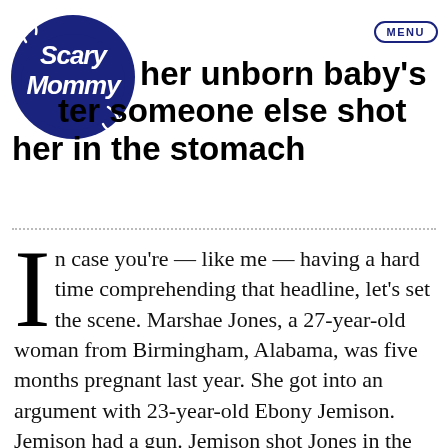Scary Mommy
her unborn baby's [death] after someone else shot her in the stomach
In case you're — like me — having a hard time comprehending that headline, let's set the scene. Marshae Jones, a 27-year-old woman from Birmingham, Alabama, was five months pregnant last year. She got into an argument with 23-year-old Ebony Jemison. Jemison had a gun. Jemison shot Jones in the stomach. Jones' unborn baby died. Jemison was arrested and charged with manslaughter, but a grand jury didn't indict her on those charges.